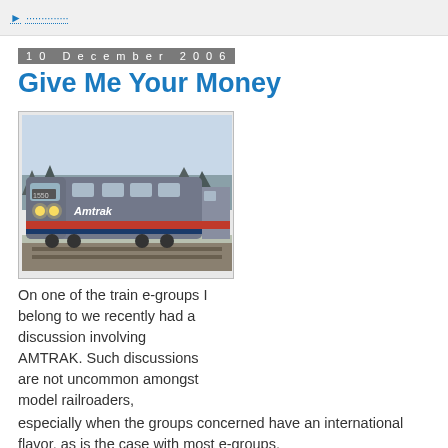10 December 2006
Give Me Your Money
[Figure (photo): An Amtrak passenger train locomotive in a snowy winter setting, with the Amtrak logo visible on the side of the engine. The train is on tracks with snow on the ground.]
On one of the train e-groups I belong to we recently had a discussion involving AMTRAK. Such discussions are not uncommon amongst model railroaders, especially when the groups concerned have an international flavor, as is the case with most e-groups.
I am of the opinion that AMTRAK was fatally flawed from the beginning, that if there were any money to be made in passenger service that the big railroads would make it and if